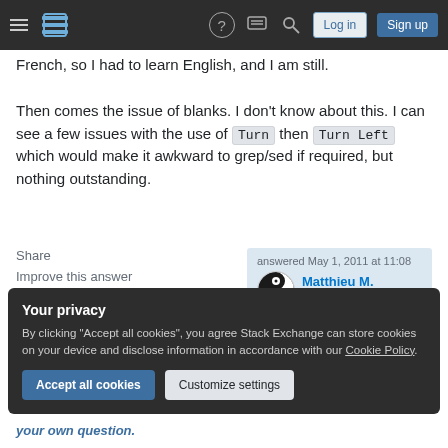Stack Exchange navigation bar with hamburger, logo, help, chat, search, Log in, Sign up
French, so I had to learn English, and I am still.
Then comes the issue of blanks. I don't know about this. I can see a few issues with the use of Turn then Turn Left which would make it awkward to grep/sed if required, but nothing outstanding.
Share | Improve this answer | Follow
answered May 1, 2011 at 11:08
Matthieu M.
13.4k ● 4 ● 42 ● 62
Add a comment
Your privacy
By clicking "Accept all cookies", you agree Stack Exchange can store cookies on your device and disclose information in accordance with our Cookie Policy.
Accept all cookies | Customize settings
your own question.